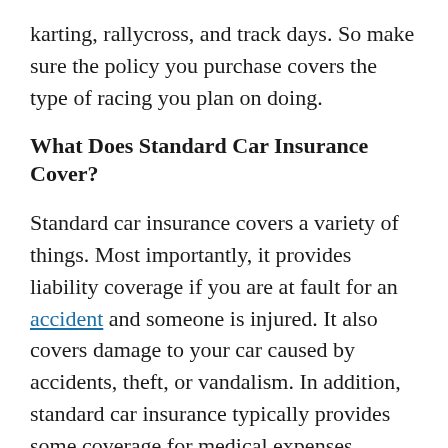karting, rallycross, and track days. So make sure the policy you purchase covers the type of racing you plan on doing.
What Does Standard Car Insurance Cover?
Standard car insurance covers a variety of things. Most importantly, it provides liability coverage if you are at fault for an accident and someone is injured. It also covers damage to your car caused by accidents, theft, or vandalism. In addition, standard car insurance typically provides some coverage for medical expenses incurred due to an accident.